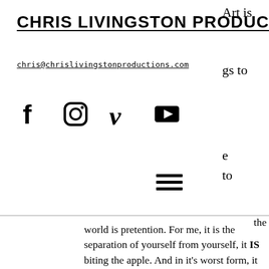CHRIS LIVINGSTON PRODUCTIONS
chris@chrislivingstonproductions.com
[Figure (other): Social media icons: Facebook, Instagram, Vimeo, YouTube]
[Figure (other): Hamburger menu icon (three horizontal lines)]
world is pretention. For me, it is the separation of yourself from yourself, it IS biting the apple. And in it’s worst form, it creates Nazis.
There’s a great quote by Einstein. “For an idea that does not at first seem insane, there is no hope.”